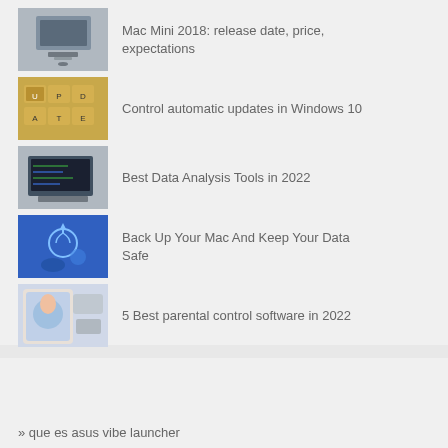Mac Mini 2018: release date, price, expectations
Control automatic updates in Windows 10
Best Data Analysis Tools in 2022
Back Up Your Mac And Keep Your Data Safe
5 Best parental control software in 2022
› All articles
» que es asus vibe launcher